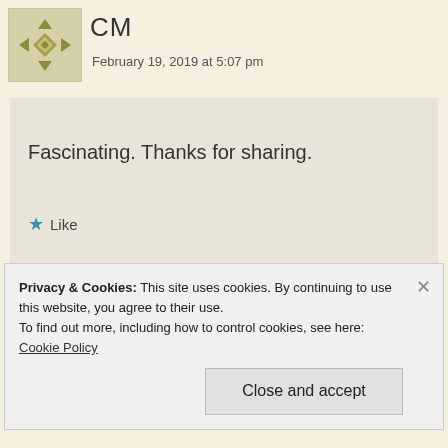[Figure (illustration): Avatar icon with geometric diamond/cross pattern in olive/gold tones on light background]
CM
February 19, 2019 at 5:07 pm
Fascinating. Thanks for sharing.
★ Like
Reply
Privacy & Cookies: This site uses cookies. By continuing to use this website, you agree to their use.
To find out more, including how to control cookies, see here: Cookie Policy
Close and accept